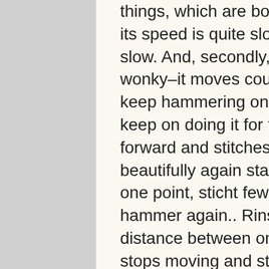things, which are bothering me, firstly, its speed is quite slow, I mean really slow. And, secondly, it's idt is quite wonky–it moves couple of inches then keep hammering on a single point and keep on doing it for few seconds, move forward and stitches few inches beautifully again start hammering at one point, sticht few inches more, hammer again.. Rinse and repeat. The distance between one point where it stops moving and starts puncturing at one place to the other point of no movement is same, let's 2.5 inches approximately.
Does anyone have any idea why it does so.
I live in a 3rd world country and there is pfaff repairman around 5099 km around me.
I will highly appreciate any help.